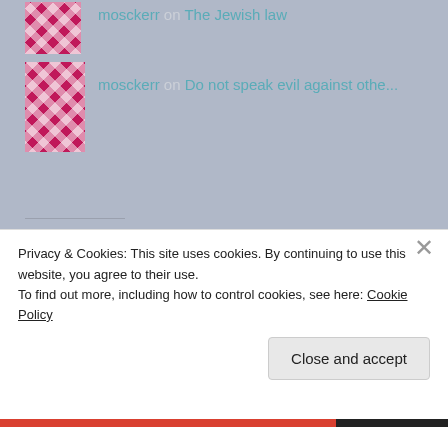mosckerr on The Jewish law
mosckerr on Do not speak evil against othe...
Archives
August 2022
July 2022
June 2022
Privacy & Cookies: This site uses cookies. By continuing to use this website, you agree to their use.
To find out more, including how to control cookies, see here: Cookie Policy
Close and accept